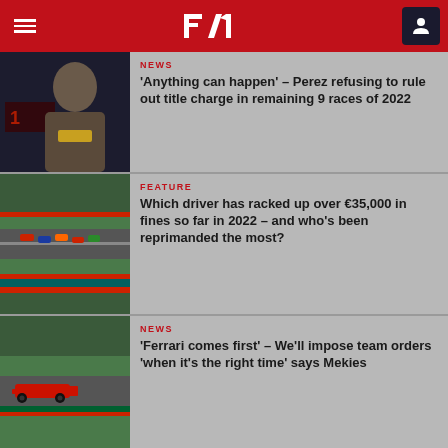F1 — Formula 1 Mobile App Header
NEWS
'Anything can happen' – Perez refusing to rule out title charge in remaining 9 races of 2022
FEATURE
Which driver has racked up over €35,000 in fines so far in 2022 – and who's been reprimanded the most?
NEWS
'Ferrari comes first' – We'll impose team orders 'when it's the right time' says Mekies